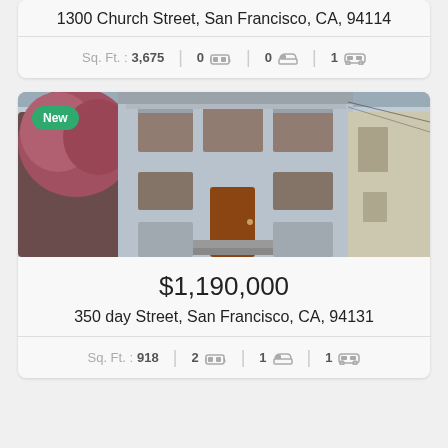1300 Church Street, San Francisco, CA, 94114
Sq. Ft.: 3,675  |  0 bed  |  0 bath  |  1 garage
[Figure (photo): Exterior photo of a Victorian-style multi-unit building at 350 day Street, San Francisco. White/grey painted wood siding, large windows, front steps, and a reddish-brown front door. A blooming pink/red tree is visible on the left. Adjacent buildings are visible on the right. A green 'New' badge overlays the upper left corner.]
$1,190,000
350 day Street, San Francisco, CA, 94131
Sq. Ft.: 918  |  2 bed  |  1 bath  |  1 garage